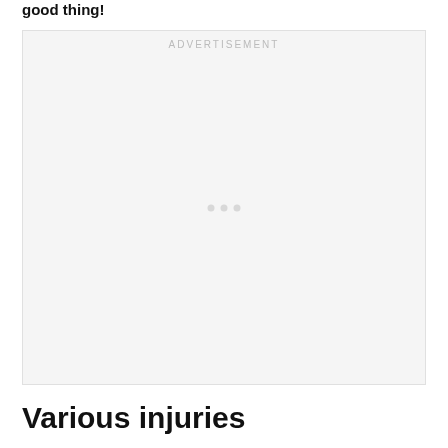good thing!
[Figure (other): Advertisement placeholder box with 'ADVERTISEMENT' label at top and three small dots centered in the middle]
Various injuries